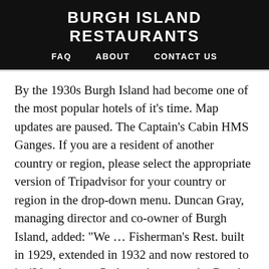BURGH ISLAND RESTAURANTS
FAQ   ABOUT   CONTACT US
By the 1930s Burgh Island had become one of the most popular hotels of it’s time. Map updates are paused. The Captain’s Cabin HMS Ganges. If you are a resident of another country or region, please select the appropriate version of Tripadvisor for your country or region in the drop-down menu. Duncan Gray, managing director and co-owner of Burgh Island, added: “We … Fisherman’s Rest. built in 1929, extended in 1932 and now restored to its ’30s glamour. Perhaps that was why Burgh Island inspired not one but two of